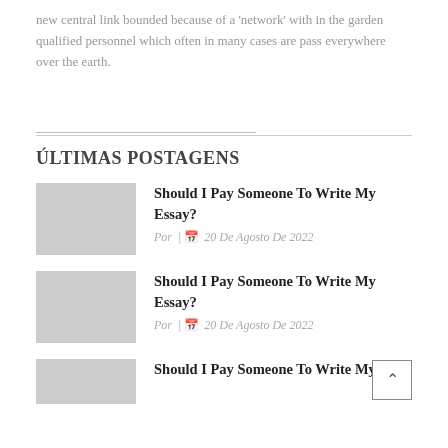new central link bounded because of a ‘network’ with in the garden qualified personnel which often in many cases are pass everywhere over the earth.
ÚLTIMAS POSTAGENS
Should I Pay Someone To Write My Essay? Por | 20 De Agosto De 2022
Should I Pay Someone To Write My Essay? Por | 20 De Agosto De 2022
Should I Pay Someone To Write My